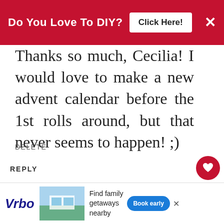Do You Love To DIY? [Click Here!] ×
Thanks so much, Cecilia! I would love to make a new advent calendar before the 1st rolls around, but that never seems to happen! ;)
DELETE
REPLY
Celestina Marie
NOVEMBER 12, 2015 AT 3:37 PM
WHAT'S NEXT → 20 Easy Craft And Decor...
The last few years, I too have been going with less decor. It just feels
[Figure (screenshot): Bottom advertisement banner for Vrbo showing beach vacation rental, with text 'Find family getaways nearby' and 'Book early' button]